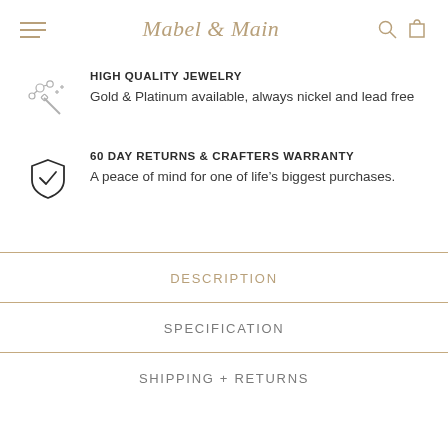Mabel & Main
HIGH QUALITY JEWELRY
Gold & Platinum available, always nickel and lead free
60 DAY RETURNS & CRAFTERS WARRANTY
A peace of mind for one of life's biggest purchases.
DESCRIPTION
SPECIFICATION
SHIPPING + RETURNS